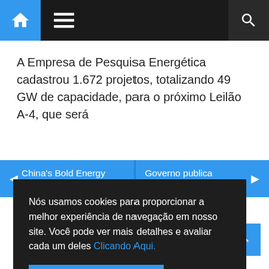Navigation bar with home, menu, and search icons
A Empresa de Pesquisa Energética cadastrou 1.672 projetos, totalizando 49 GW de capacidade, para o próximo Leilão A-4, que será
◂ China's Bold Energy Vision
Governo publica exoneraç... ▸
Nós usamos cookies para proporcionar a melhor experiência de navegação em nosso site. Você pode ver mais detalhes e avaliar cada um deles Clicando Aqui.
Aceitar todos os cookies
Campos
Comentário